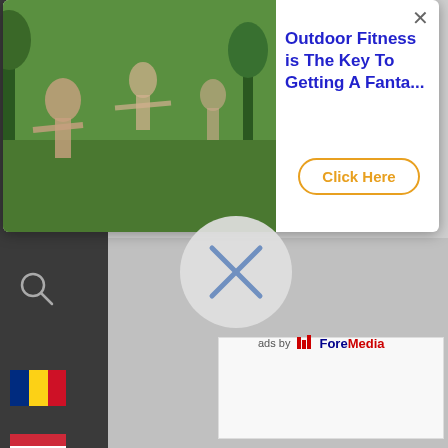[Figure (screenshot): Website screenshot showing an ad popup overlay with outdoor fitness photo, 'Outdoor Fitness is The Key To Getting A Fanta...' title in blue, yellow 'Click Here' button, X close button, left dark sidebar with search icon and country flags (Romania, Hungary, UK), navigation items 'Acasă' and 'Can Ta', ads by ForeMedia label, mortgage loans article title, interior decoration ad with sleeping woman photo]
Outdoor Fitness is The Key To Getting A Fanta...
Click Here
ads by ForeMedia
Acasă
Can Ta
Mortgage Loans: An Introduction
ads by ForeMedia
Intriguing Interior Decoration Ideas For Bedr...